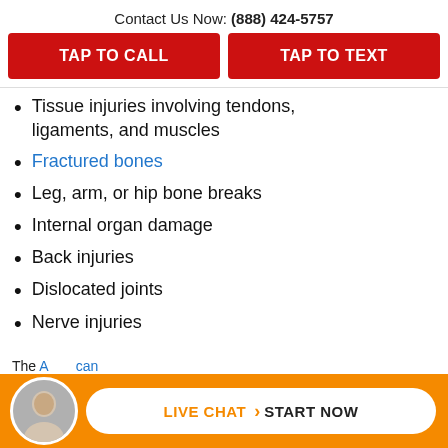Contact Us Now: (888) 424-5757
TAP TO CALL
TAP TO TEXT
Tissue injuries involving tendons, ligaments, and muscles
Fractured bones
Leg, arm, or hip bone breaks
Internal organ damage
Back injuries
Dislocated joints
Nerve injuries
The A...can...
LIVE CHAT > START NOW